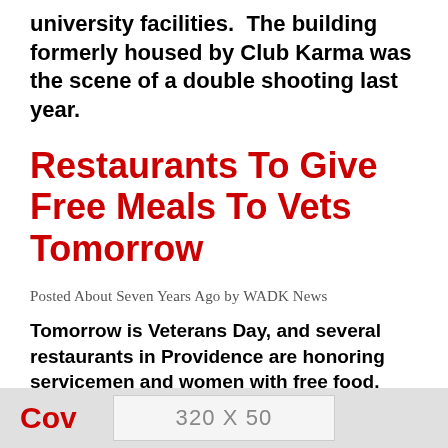university facilities.  The building formerly housed by Club Karma was the scene of a double shooting last year.
Restaurants To Give Free Meals To Vets Tomorrow
Posted About Seven Years Ago by WADK News
Tomorrow is Veterans Day, and several restaurants in Providence are honoring servicemen and women with free food.  Military vets can come to multiple restaurants in the area to get a free, hot meal.  Some of the participating chains include Outback Steakhouse, Denny's, Applebee's, Chili's, IHOP and Uno Chicago Grill.
[Figure (other): Advertisement banner placeholder showing '320 X 50']